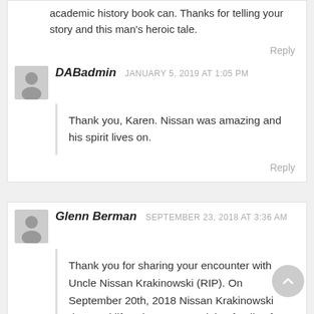academic history book can. Thanks for telling your story and this man's heroic tale.
Reply
DABadmin  JANUARY 5, 2019 AT 1:05 PM
Thank you, Karen. Nissan was amazing and his spirit lives on.
Reply
Glenn Berman  SEPTEMBER 23, 2018 AT 3:36 AM
Thank you for sharing your encounter with Uncle Nissan Krakinowski (RIP). On September 20th, 2018 Nissan Krakinowski departed life. Nissan 's remaining family of grand and great grand nieces and nephews will gather at his brother-in law Joesph Ceder (better known as Papa Joe) home in Far Rockaway (NY) to sit in remembrance, as still